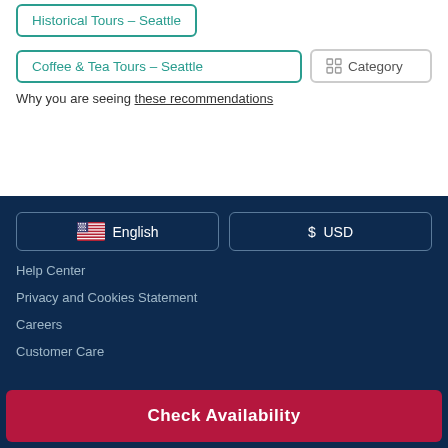Historical Tours - Seattle
Coffee & Tea Tours - Seattle
Category
Why you are seeing these recommendations
English
$ USD
Help Center
Privacy and Cookies Statement
Careers
Customer Care
Check Availability